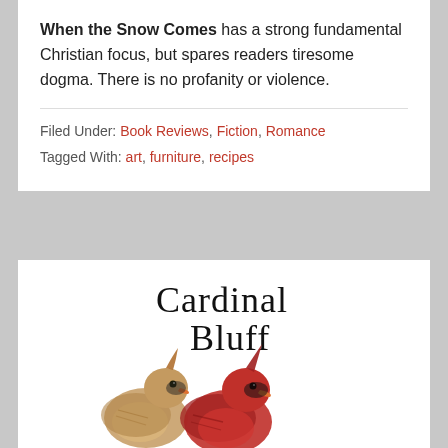When the Snow Comes has a strong fundamental Christian focus, but spares readers tiresome dogma. There is no profanity or violence.
Filed Under: Book Reviews, Fiction, Romance
Tagged With: art, furniture, recipes
[Figure (illustration): Book cover for 'Cardinal Bluff' showing two cardinals (one female brown, one male red) with stylized serif title text above them.]